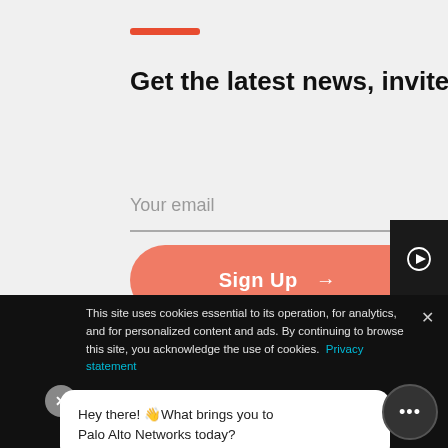Get the latest news, invites to events, and threat alerts
Your email
Sign Up →
This site uses cookies essential to its operation, for analytics, and for personalized content and ads. By continuing to browse this site, you acknowledge the use of cookies. Privacy statement
Hey there! 👋What brings you to Palo Alto Networks today?